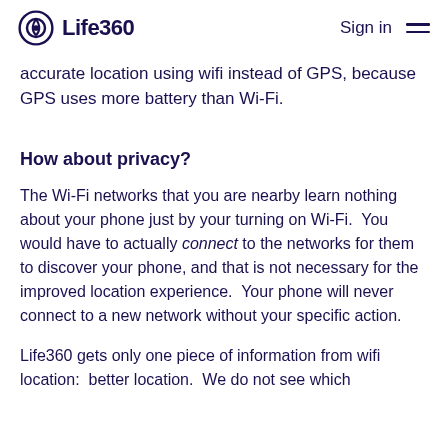Life360  Sign in
accurate location using wifi instead of GPS, because GPS uses more battery than Wi-Fi.
How about privacy?
The Wi-Fi networks that you are nearby learn nothing about your phone just by your turning on Wi-Fi. You would have to actually connect to the networks for them to discover your phone, and that is not necessary for the improved location experience. Your phone will never connect to a new network without your specific action.
Life360 gets only one piece of information from wifi location: better location. We do not see which